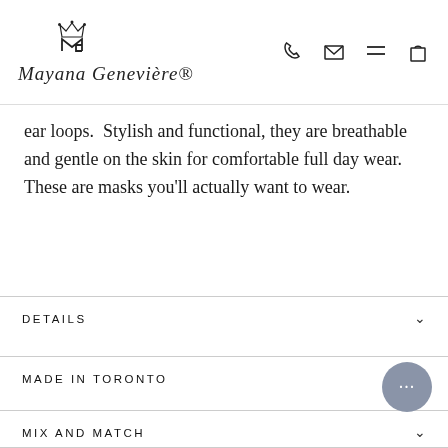Mayana Genevière — logo and navigation icons (phone, email, menu, cart)
ear loops.  Stylish and functional, they are breathable and gentle on the skin for comfortable full day wear.  These are masks you'll actually want to wear.
DETAILS
MADE IN TORONTO
MIX AND MATCH